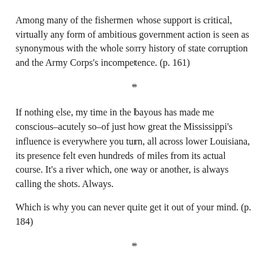Among many of the fishermen whose support is critical, virtually any form of ambitious government action is seen as synonymous with the whole sorry history of state corruption and the Army Corps's incompetence. (p. 161)
*
If nothing else, my time in the bayous has made me conscious–acutely so–of just how great the Mississippi's influence is everywhere you turn, all across lower Louisiana, its presence felt even hundreds of miles from its actual course. It's a river which, one way or another, is always calling the shots. Always.
Which is why you can never quite get it out of your mind. (p. 184)
*